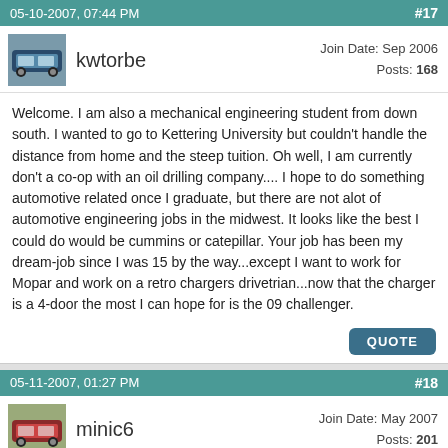05-10-2007, 07:44 PM   #17
kwtorbe   Join Date: Sep 2006  Posts: 168
Welcome. I am also a mechanical engineering student from down south. I wanted to go to Kettering University but couldn't handle the distance from home and the steep tuition. Oh well, I am currently don't a co-op with an oil drilling company.... I hope to do something automotive related once I graduate, but there are not alot of automotive engineering jobs in the midwest. It looks like the best I could do would be cummins or catepillar. Your job has been my dream-job since I was 15 by the way...except I want to work for Mopar and work on a retro chargers drivetrian...now that the charger is a 4-door the most I can hope for is the 09 challenger.
05-11-2007, 01:27 PM   #18
minic6   Join Date: May 2007  Posts: 201
Always remember the grass is always greener on the other side. There are down sides to our industry too. I was reminded of it today, it's